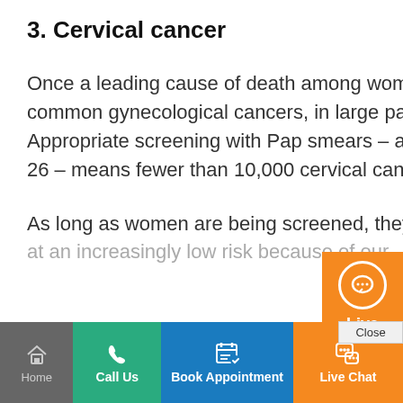3. Cervical cancer
Once a leading cause of death among women in the U.S., cervical cancer is one of the least common gynecological cancers, in large part, due to sophisticated screening and vaccines. Appropriate screening with Pap smears – and HPV vaccines in younger women ages 9 to 26 – means fewer than 10,000 cervical cancers cases appear annually.
As long as women are being screened, they're at an increasingly low risk because of our
[Figure (screenshot): Live Chat widget overlay with orange background, chat bubble icon, 'Live Chat' label, hours 9:00 am - 5:00 pm GMT+8, and Close button]
[Figure (screenshot): Bottom navigation bar with Home (gray), Call Us (green), Book Appointment (blue), and Live Chat (orange) buttons with icons]